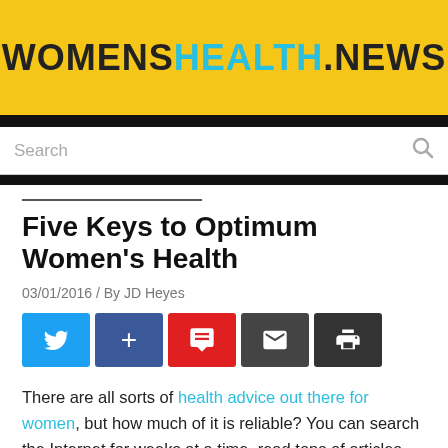WOMENSHEALTH.NEWS
Search
Five Keys to Optimum Women's Health
03/01/2016 / By JD Heyes
[Figure (other): Social sharing buttons: Twitter, Facebook plus, Comment (red), Email, Print]
There are all sorts of health advice out there for women, but how much of it is reliable? You can search the Internet for weeks at a time, read tons of articles and watch scores of documentaries and never really be sure that what you've heard and read is accurate.